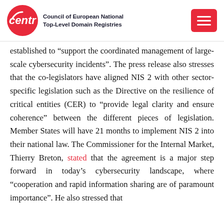Council of European National Top-Level Domain Registries
established to “support the coordinated management of large-scale cybersecurity incidents”. The press release also stresses that the co-legislators have aligned NIS 2 with other sector-specific legislation such as the Directive on the resilience of critical entities (CER) to “provide legal clarity and ensure coherence” between the different pieces of legislation. Member States will have 21 months to implement NIS 2 into their national law. The Commissioner for the Internal Market, Thierry Breton, stated that the agreement is a major step forward in today’s cybersecurity landscape, where “cooperation and rapid information sharing are of paramount importance”. He also stressed that